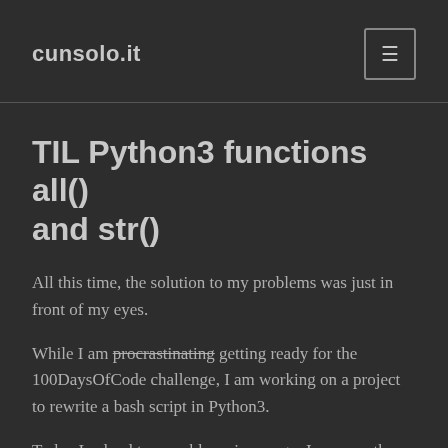cunsolo.it
TIL Python3 functions all() and str()
All this time, the solution to my problems was just in front of my eyes.
While I am procrastinating getting ready for the 100DaysOfCode challenge, I am working on a project to rewrite a bash script in Python3.
Today I solved two problems in one go. I am sure the experienced coder would have done it in a minute and with time to spare, but hey that's how